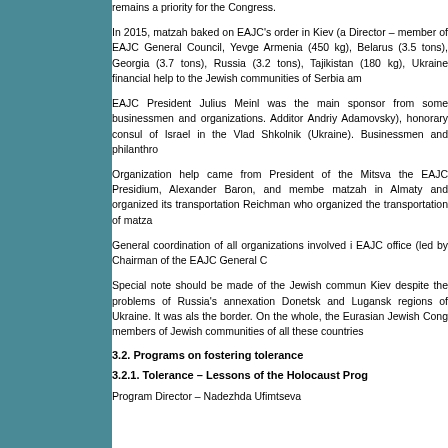remains a priority for the Congress.
In 2015, matzah baked on EAJC's order in Kiev (a Director – member of EAJC General Council, Yevge Armenia (450 kg), Belarus (3.5 tons), Georgia (3.7 tons), Russia (3.2 tons), Tajikistan (180 kg), Ukraine financial help to the Jewish communities of Serbia am
EAJC President Julius Meinl was the main sponsor from some businessmen and organizations. Additor Andriy Adamovsky), honorary consul of Israel in the Vlad Shkolnik (Ukraine). Businessmen and philanthro
Organization help came from President of the Mitsva the EAJC Presidium, Alexander Baron, and membe matzah in Almaty and organized its transportation Reichman who organized the transportation of matza
General coordination of all organizations involved i EAJC office (led by Chairman of the EAJC General C
Special note should be made of the Jewish commun Kiev despite the problems of Russia's annexation Donetsk and Lugansk regions of Ukraine. It was als the border. On the whole, the Eurasian Jewish Cong members of Jewish communities of all these countries
3.2. Programs on fostering tolerance
3.2.1. Tolerance – Lessons of the Holocaust Prog
Program Director – Nadezhda Ufimtseva